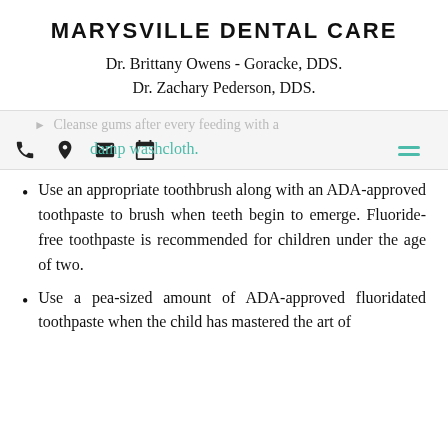MARYSVILLE DENTAL CARE
Dr. Brittany Owens - Goracke, DDS.
Dr. Zachary Pederson, DDS.
Cleanse gums after every feeding with a damp washcloth.
Use an appropriate toothbrush along with an ADA-approved toothpaste to brush when teeth begin to emerge. Fluoride-free toothpaste is recommended for children under the age of two.
Use a pea-sized amount of ADA-approved fluoridated toothpaste when the child has mastered the art of